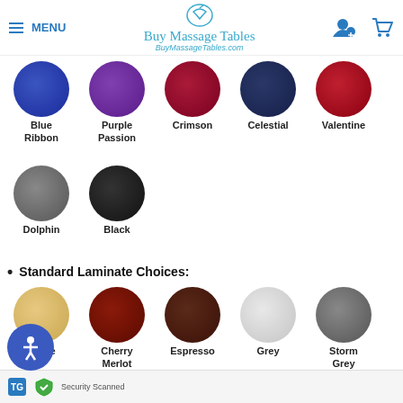MENU | Buy Massage Tables | BuyMassageTables.com
[Figure (illustration): Color swatches row 1: Blue Ribbon (dark blue), Purple Passion (purple), Crimson (dark red), Celestial (dark navy), Valentine (red)]
[Figure (illustration): Color swatches row 2: Dolphin (grey), Black]
Standard Laminate Choices:
[Figure (illustration): Laminate swatches: Maple (light wood), Cherry Merlot (dark red wood), Espresso (dark brown), Grey (light grey), Storm Grey (dark grey)]
Security Scanned